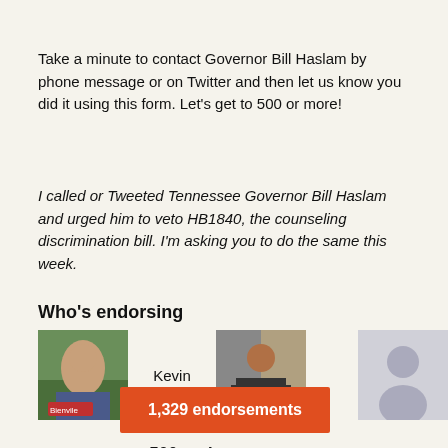Take a minute to contact Governor Bill Haslam by phone message or on Twitter and then let us know you did it using this form.  Let's get to 500 or more!
I called or Tweeted Tennessee Governor Bill Haslam and urged him to veto HB1840, the counseling discrimination bill.  I'm asking you to do the same this week.
Who's endorsing
[Figure (photo): Row of endorser photos: a person outdoors near a tree with a 'Bienvile' badge, a person labeled Kevin, a person in dark shirt holding something, and a blank silhouette placeholder]
[Figure (infographic): Orange button showing 1,329 endorsements]
500 endorsements